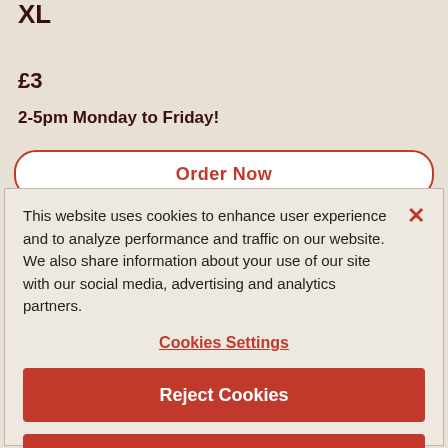XL
£3
2-5pm Monday to Friday!
Order Now
This website uses cookies to enhance user experience and to analyze performance and traffic on our website. We also share information about your use of our site with our social media, advertising and analytics partners.
Cookies Settings
Reject Cookies
Accept Cookies